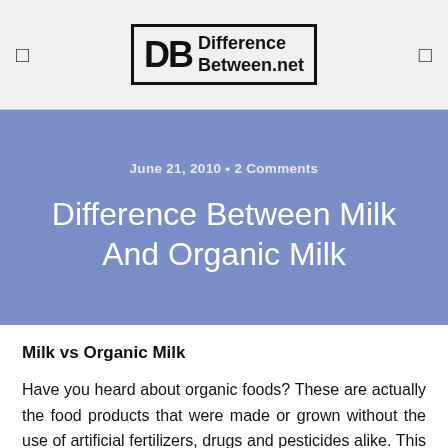DifferenceBetween.net
June 21, 2010 • 2 Comments
Difference Between Milk And Organic Milk
Milk vs Organic Milk
Have you heard about organic foods? These are actually the food products that were made or grown without the use of artificial fertilizers, drugs and pesticides alike. This means that the process